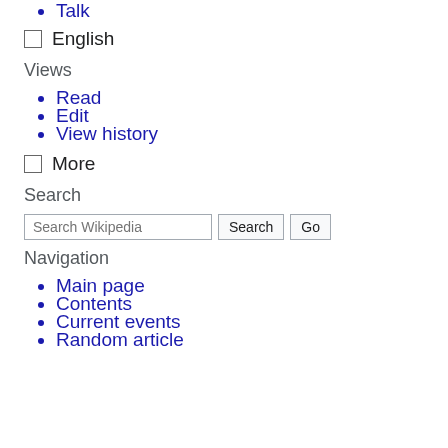Talk
☐ English
Views
Read
Edit
View history
☐ More
Search
Search Wikipedia [input] Search Go
Navigation
Main page
Contents
Current events
Random article